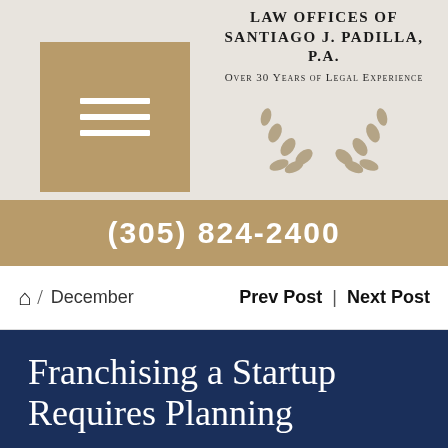Law Offices of Santiago J. Padilla, P.A.
Over 30 Years of Legal Experience
(305) 824-2400
Home / December   Prev Post | Next Post
Franchising a Startup Requires Planning
By Santiago J. Padilla, Esq.
December 27, 2020